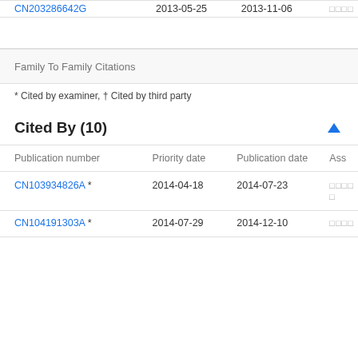| Publication number | Priority date | Publication date | Ass |
| --- | --- | --- | --- |
| CN203286642G | 2013-05-25 | 2013-11-06 | □□□□ |
| CN103934826A * | 2014-04-18 | 2014-07-23 | □□□□□ |
| CN104191303A * | 2014-07-29 | 2014-12-10 | □□□□ |
Family To Family Citations
* Cited by examiner, † Cited by third party
Cited By (10)
| Publication number | Priority date | Publication date | Ass |
| --- | --- | --- | --- |
| CN103934826A * | 2014-04-18 | 2014-07-23 | □□□□□ |
| CN104191303A * | 2014-07-29 | 2014-12-10 | □□□□ |